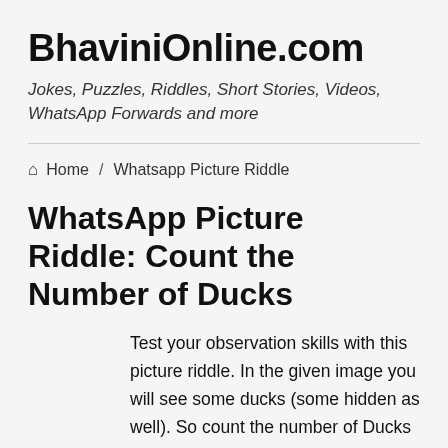BhaviniOnline.com
Jokes, Puzzles, Riddles, Short Stories, Videos, WhatsApp Forwards and more
🏠 Home / Whatsapp Picture Riddle
WhatsApp Picture Riddle: Count the Number of Ducks
Test your observation skills with this picture riddle. In the given image you will see some ducks (some hidden as well). So count the number of Ducks and share the number in the comments section below. Can you count the number of ducks in the image?